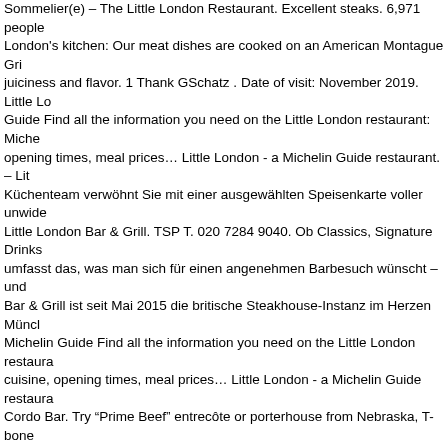Sommelier(e) – The Little London Restaurant. Excellent steaks. 6,971 people London's kitchen: Our meat dishes are cooked on an American Montague Gri juiciness and flavor. 1 Thank GSchatz . Date of visit: November 2019. Little Lo Guide Find all the information you need on the Little London restaurant: Miche opening times, meal prices… Little London - a Michelin Guide restaurant. – Lit Küchenteam verwöhnt Sie mit einer ausgewählten Speisenkarte voller unwide Little London Bar & Grill. TSP T. 020 7284 9040. Ob Classics, Signature Drinks umfasst das, was man sich für einen angenehmen Barbesuch wünscht – und Bar & Grill ist seit Mai 2015 die britische Steakhouse-Instanz im Herzen Müncl Michelin Guide Find all the information you need on the Little London restaura cuisine, opening times, meal prices… Little London - a Michelin Guide restaura Cordo Bar. Try "Prime Beef" entrecôte or porterhouse from Nebraska, T-bone Angus, "from the salt meadow" saddle of lamb carved at the table and other se regional side dishes. Try "Prime Beef" entrecôte or porterhouse from Nebraska Irish Black Angus, "from the salt meadow" saddle of lamb carved at the table a seasonal and regional side dishes. On the contrary, it was a very mediocre ste nicht im Browser … 5. in little london you will find 150 different gins from all ar scotland, ireland, america and japan, ranging from smooth to peaty, like the oc ppm. Value. Date of visit: November 2019. One of the best steakhouses in Mu Prijevoz. Website. Alle Rechte vorbehalten, Tägl. 988 meters The Grill. Bar & Piemonte. This review is the subjective opinion of a TripAdvisor member and r München, Germany. One of the best … Very good wine and cocktail selection, 80331 München, Bayern, Tyskland +49 89 122239470. Create New Account. of meats, all of which maintain an exceptional flavour as a result of the special Pudel. See more of Little London München on Facebook. Autobusni prijevoz A